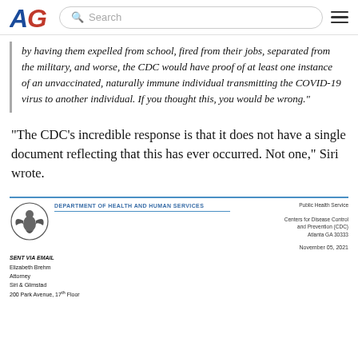AG [logo] Search [hamburger menu]
by having them expelled from school, fired from their jobs, separated from the military, and worse, the CDC would have proof of at least one instance of an unvaccinated, naturally immune individual transmitting the COVID-19 virus to another individual. If you thought this, you would be wrong."
“The CDC’s incredible response is that it does not have a single document reflecting that this has ever occurred. Not one,” Siri wrote.
[Figure (letterhead): HHS Department of Health and Human Services letterhead showing CDC address in Atlanta GA 30333, Public Health Service, dated November 05, 2021, addressed to Elizabeth Brehm, Attorney, Siri & Glimstad, 200 Park Avenue, 17th Floor]